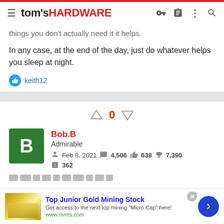tom's HARDWARE
things you don't actually need it it helps.
In any case, at the end of the day, just do whatever helps you sleep at night.
keith12
0
Bob.B
Admirable
Feb 8, 2021   4,506   638   7,390
362
[Figure (screenshot): Advertisement banner: Top Junior Gold Mining Stock. Get access to the next top mining "Micro Cap" here! www.rivres.com]